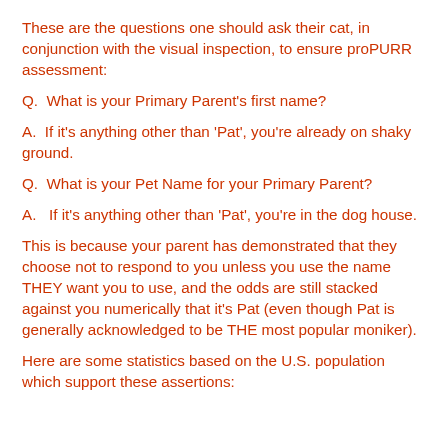These are the questions one should ask their cat, in conjunction with the visual inspection, to ensure proPURR assessment:
Q.  What is your Primary Parent's first name?
A.  If it's anything other than 'Pat', you're already on shaky ground.
Q.  What is your Pet Name for your Primary Parent?
A.   If it's anything other than 'Pat', you're in the dog house.
This is because your parent has demonstrated that they choose not to respond to you unless you use the name THEY want you to use, and the odds are still stacked against you numerically that it's Pat (even though Pat is generally acknowledged to be THE most popular moniker).
Here are some statistics based on the U.S. population which support these assertions: